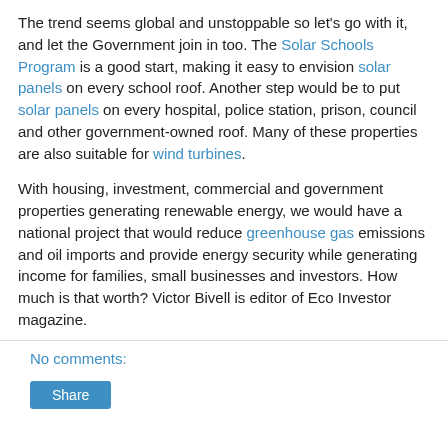The trend seems global and unstoppable so let's go with it, and let the Government join in too. The Solar Schools Program is a good start, making it easy to envision solar panels on every school roof. Another step would be to put solar panels on every hospital, police station, prison, council and other government-owned roof. Many of these properties are also suitable for wind turbines.
With housing, investment, commercial and government properties generating renewable energy, we would have a national project that would reduce greenhouse gas emissions and oil imports and provide energy security while generating income for families, small businesses and investors. How much is that worth? Victor Bivell is editor of Eco Investor magazine.
No comments: